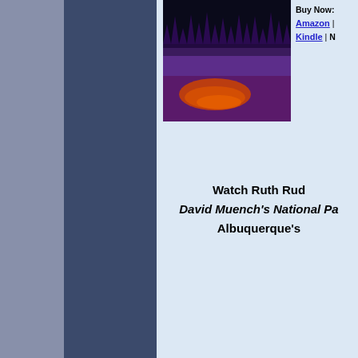[Figure (photo): Book cover showing dark forest silhouette against purple sky with orange/red reflections below, likely a landscape photography book]
Buy Now:
Amazon | Kindle | N
Watch Ruth Rud- David Muench's National Pa- Albuquerque's